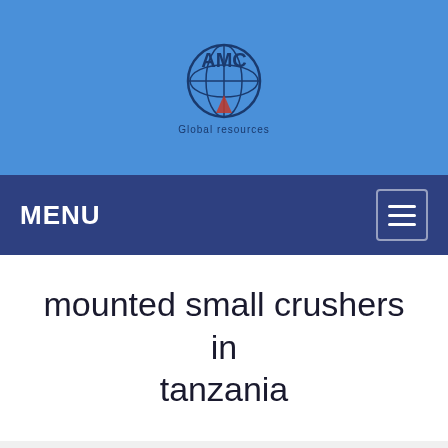[Figure (logo): AMC Global company logo with globe icon on blue background]
MENU
mounted small crushers in tanzania
Tell us what you are looking for?
Please fill in and submit the following form, our service team will contact you as soon as possible and provide a complete solution.